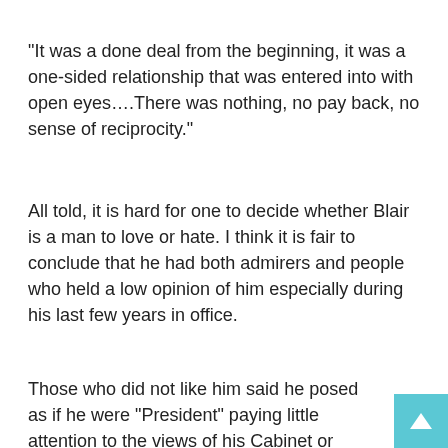“It was a done deal from the beginning, it was a one-sided relationship that was entered into with open eyes….There was nothing, no pay back, no sense of reciprocity.”
All told, it is hard for one to decide whether Blair is a man to love or hate. I think it is fair to conclude that he had both admirers and people who held a low opinion of him especially during his last few years in office.
Those who did not like him said he posed as if he were “President” paying little attention to the views of his Cabinet or